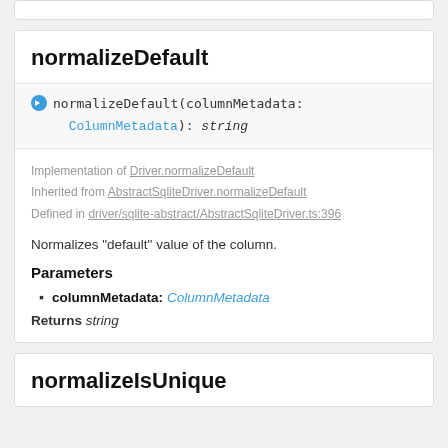normalizeDefault
normalizeDefault(columnMetadata: ColumnMetadata): string
Implementation of Driver.normalizeDefault
Inherited from AbstractSqliteDriver.normalizeDefault
Defined in driver/sqlite-abstract/AbstractSqliteDriver.ts:396
Normalizes "default" value of the column.
Parameters
columnMetadata: ColumnMetadata
Returns string
normalizeIsUnique